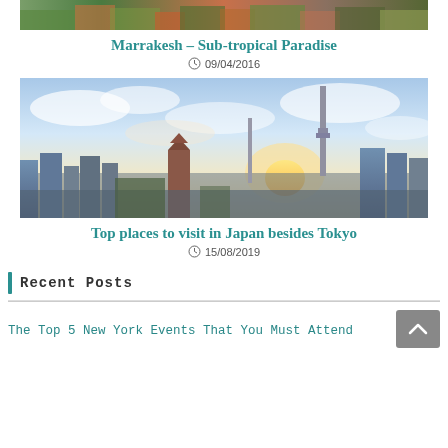[Figure (photo): Top portion of a city/landscape photo (Marrakesh) — colorful rooftops and greenery]
Marrakesh – Sub-tropical Paradise
09/04/2016
[Figure (photo): Panoramic skyline of Tokyo at sunset showing Tokyo Skytree tower, pagodas, and city buildings under a dramatic cloudy sky]
Top places to visit in Japan besides Tokyo
15/08/2019
Recent Posts
The Top 5 New York Events That You Must Attend